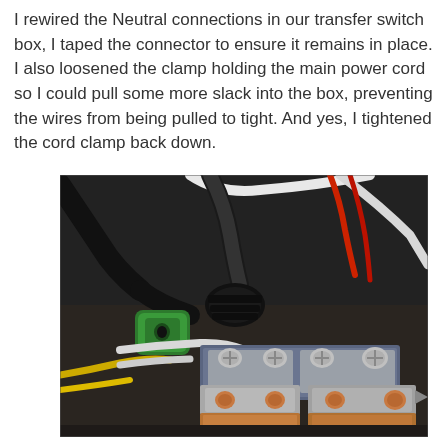I rewired the Neutral connections in our transfer switch box, I taped the connector to ensure it remains in place. I also loosened the clamp holding the main power cord so I could pull some more slack into the box, preventing the wires from being pulled to tight. And yes, I tightened the cord clamp back down.
[Figure (photo): Close-up photo of the interior of a transfer switch box showing multiple electrical wires (black, white, yellow, red), a green wire connector taped with black electrical tape, and neutral bar terminal blocks with metal lugs and copper bus bars visible at the bottom.]